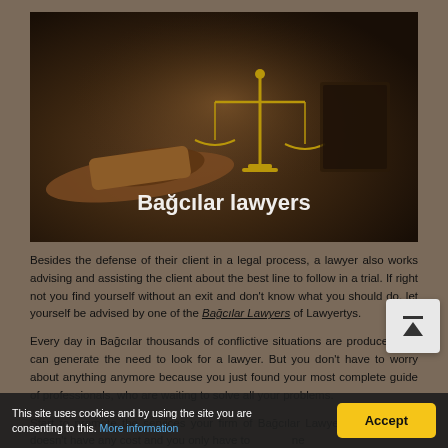[Figure (photo): Dark moody photo of a judge's gavel and scales of justice on a wooden surface, with the text 'Bağcılar lawyers' overlaid in white bold text at the bottom center.]
Besides the defense of their client in a legal process, a lawyer also works advising and assisting the client about the best line to follow in a trial. If right not you find yourself without an exit and don't know what you should do, let yourself be advised by one of the Bağcılar Lawyers of Lawyertys.
Every day in Bağcılar thousands of conflictive situations are produced that can generate the need to look for a lawyer. But you don't have to worry about anything anymore because you just found your most complete guide of professionals, who are waiting to solve all your problems.
Start to promote the services your firm of Bağcılar Lawyers. Registration doesn't have any cost and you only have to
This site uses cookies and by using the site you are consenting to this. More information
Accept